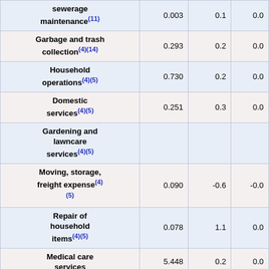| Item | Value1 | Value2 | Value3 |
| --- | --- | --- | --- |
| Sewerage maintenance(11) | 0.003 | 0.1 | 0.0 |
| Garbage and trash collection(4)(14) | 0.293 | 0.2 | 0.0 |
| Household operations(4)(5) | 0.730 | 0.2 | 0.0 |
| Domestic services(4)(5) | 0.251 | 0.3 | 0.0 |
| Gardening and lawncare services(4)(5) |  |  |  |
| Moving, storage, freight expense(4)(5) | 0.090 | -0.6 | -0.0 |
| Repair of household items(4)(5) | 0.078 | 1.1 | 0.0 |
| Medical care services | 5.448 | 0.2 | 0.0 |
| Professional | 0.000 | 0.0 | 0.0 |